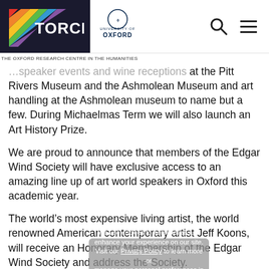TORCH | University of Oxford — The Oxford Research Centre in the Humanities
...speaker events and wine receptions at the Pitt Rivers Museum and the Ashmolean Museum and art handling at the Ashmolean museum to name but a few. During Michaelmas Term we will also launch an Art History Prize.
We are proud to announce that members of the Edgar Wind Society will have exclusive access to an amazing line up of art world speakers in Oxford this academic year.
The world's most expensive living artist, the world renowned American contemporary artist Jeff Koons, will receive an Honorary Membership of the Edgar Wind Society and address the Society.
The co-editor of Frieze Magazine, the leading contemporary art magazine, Dan Fox will address